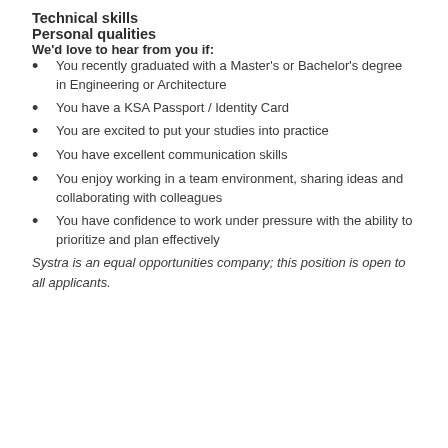Technical skills
Personal qualities
We'd love to hear from you if:
You recently graduated with a Master's or Bachelor's degree in Engineering or Architecture
You have a KSA Passport / Identity Card
You are excited to put your studies into practice
You have excellent communication skills
You enjoy working in a team environment, sharing ideas and collaborating with colleagues
You have confidence to work under pressure with the ability to prioritize and plan effectively
Systra is an equal opportunities company; this position is open to all applicants.